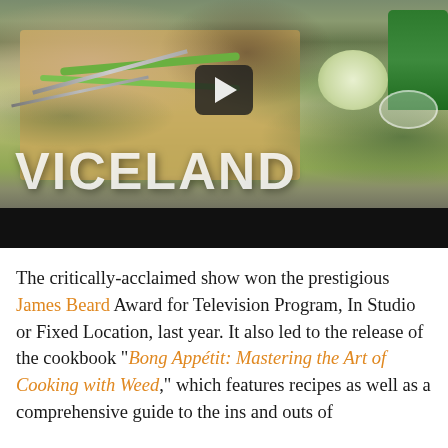[Figure (screenshot): Video thumbnail showing two people chopping vegetables on a cutting board in a kitchen setting, with the VICELAND logo overlaid in white at the bottom left and a play button in the center. A black bar appears below the video frame.]
The critically-acclaimed show won the prestigious James Beard Award for Television Program, In Studio or Fixed Location, last year. It also led to the release of the cookbook “Bong Appétit: Mastering the Art of Cooking with Weed,” which features recipes as well as a comprehensive guide to the ins and outs of